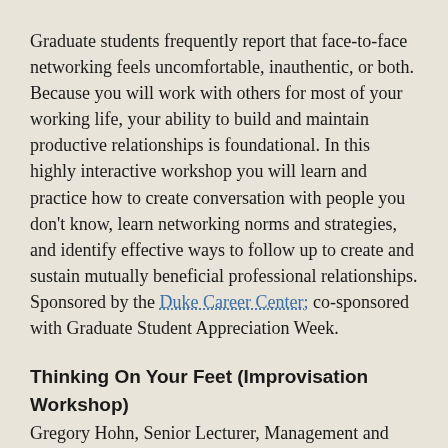Graduate students frequently report that face-to-face networking feels uncomfortable, inauthentic, or both. Because you will work with others for most of your working life, your ability to build and maintain productive relationships is foundational. In this highly interactive workshop you will learn and practice how to create conversation with people you don't know, learn networking norms and strategies, and identify effective ways to follow up to create and sustain mutually beneficial professional relationships. Sponsored by the Duke Career Center; co-sponsored with Graduate Student Appreciation Week.
Thinking On Your Feet (Improvisation Workshop)
Gregory Hohn, Senior Lecturer, Management and Office Communication, Kenan-Flagler Business School, UNC-Chapel Hill
Friday, March 28, 10:00–11:30 a.m., Carr Building, Room 240 (East Campus)
Registration: http://bit.ly/GSAW14ThinkingonyourFeet
Thinking on Your Feet is an experiential, interactive program designed to improve participants' ability to handle unexpected